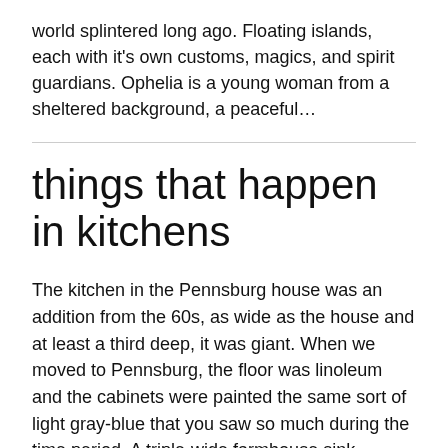world splintered long ago. Floating islands, each with it's own customs, magics, and spirit guardians. Ophelia is a young woman from a sheltered background, a peaceful…
things that happen in kitchens
The kitchen in the Pennsburg house was an addition from the 60s, as wide as the house and at least a third deep, it was giant. When we moved to Pennsburg, the floor was linoleum and the cabinets were painted the same sort of light gray-blue that you saw so much during the time period. A triple-wide farmhouse sink, cast…